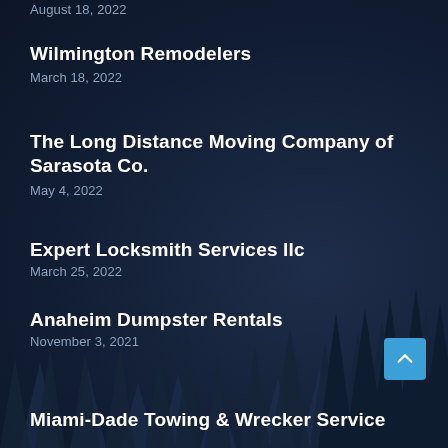August 18, 2022
Wilmington Remodelers
March 18, 2022
The Long Distance Moving Company of Sarasota Co.
May 4, 2022
Expert Locksmith Services llc
March 25, 2022
Anaheim Dumpster Rentals
November 3, 2021
Miami-Dade Towing & Wrecker Service